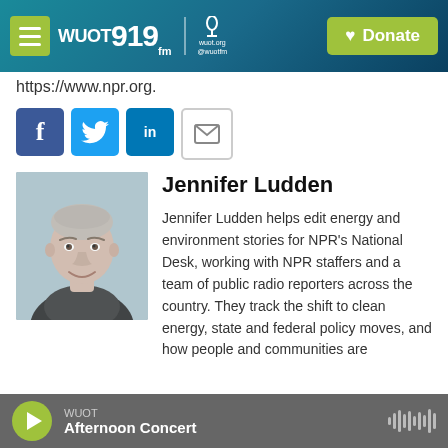WUOT 91.9 FM | Donate
https://www.npr.org.
[Figure (other): Social sharing buttons: Facebook, Twitter, LinkedIn, Email]
[Figure (photo): Headshot of Jennifer Ludden, a woman with light hair pulled back, smiling, wearing a dark scarf]
Jennifer Ludden
Jennifer Ludden helps edit energy and environment stories for NPR's National Desk, working with NPR staffers and a team of public radio reporters across the country. They track the shift to clean energy, state and federal policy moves, and how people and communities are
WUOT
Afternoon Concert